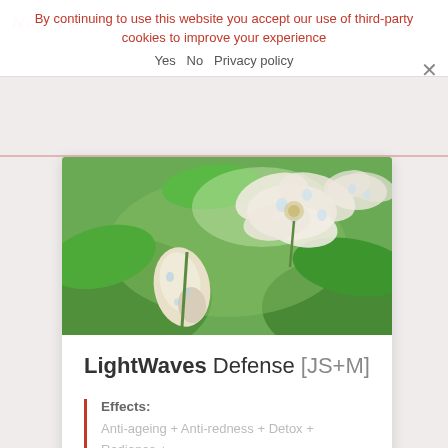NOOLYS
By continuing to use this website you accept our use of third-party cookies to improve your experience
Yes  No  Privacy policy
[Figure (photo): Close-up photo of white flowers with water droplets on petals, surrounded by green leaves]
LightWaves Defense [JS+M]
Effects:
Anti-ageing + Anti-redness + Detox + Radiance + Protective + Firming